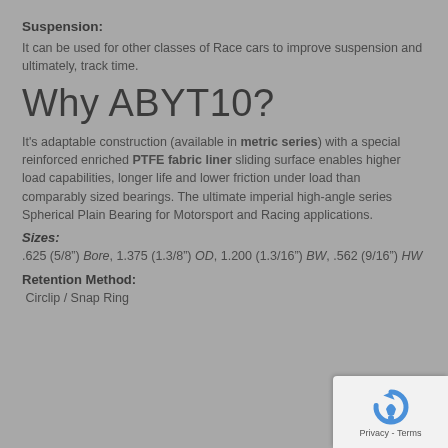Suspension:
It can be used for other classes of Race cars to improve suspension and ultimately, track time.
Why ABYT10?
It's adaptable construction (available in metric series) with a special reinforced enriched PTFE fabric liner sliding surface enables higher load capabilities, longer life and lower friction under load than comparably sized bearings. The ultimate imperial high-angle series Spherical Plain Bearing for Motorsport and Racing applications.
Sizes:
.625 (5/8") Bore, 1.375 (1.3/8") OD, 1.200 (1.3/16") BW, .562 (9/16") HW
Retention Method:
Circlip / Snap Ring